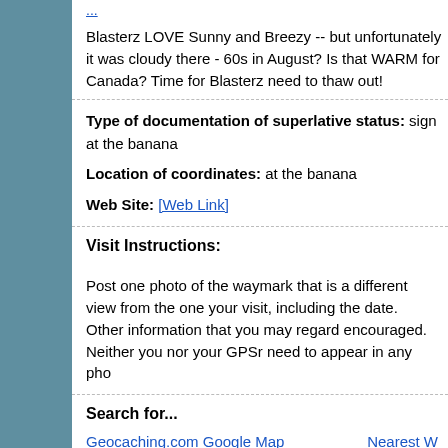Blasterz LOVE Sunny and Breezy -- but unfortunately it was cloudy there - 60s in August? Is that WARM for Canada? Time for Blasterz need to thaw out!
Type of documentation of superlative status: sign at the banana
Location of coordinates: at the banana
Web Site: [Web Link]
Visit Instructions:
Post one photo of the waymark that is a different view from the one your visit, including the date. Other information that you may regard encouraged. Neither you nor your GPSr need to appear in any pho
Search for...
Geocaching.com Google Map
Google Maps
Nearest W
Nearest S